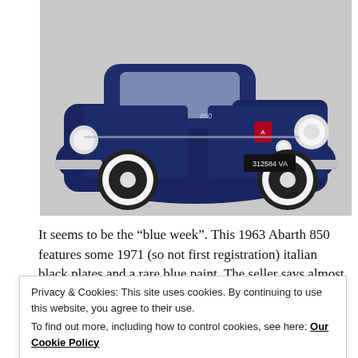[Figure (photo): Front view of a dark navy blue 1963 Abarth 850 classic car with Italian black plates reading '312584 VA', white-rimmed wheels, chrome bumpers, and Abarth badge on grille, photographed against a light grey background.]
It seems to be the “blue week”. This 1963 Abarth 850 features some 1971 (so not first registration) italian black plates and a rare blue paint. The seller says almost nothing (that’s strange from a german professional seller) about the car but that it has front brake discs. Interiors are clean, without any later
Privacy & Cookies: This site uses cookies. By continuing to use this website, you agree to their use.
To find out more, including how to control cookies, see here: Our Cookie Policy
Close and accept